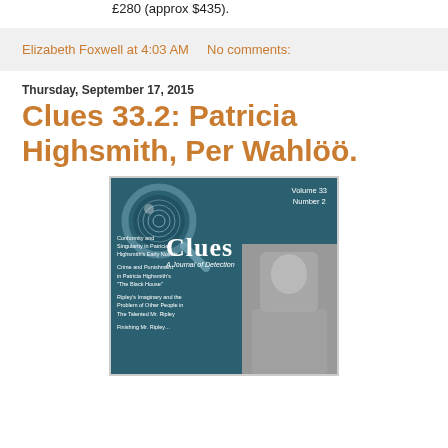£280 (approx $435).
Elizabeth Foxwell at 4:03 AM    No comments:
Thursday, September 17, 2015
Clues 33.2: Patricia Highsmith, Per Wahlöö.
[Figure (photo): Book cover of Clues: A Journal of Detection, Volume 33 Number 2, featuring a magnifying glass over a fingerprint and a black-and-white photo of a woman, with article titles listed on the left side.]